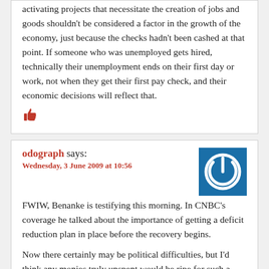activating projects that necessitate the creation of jobs and goods shouldn't be considered a factor in the growth of the economy, just because the checks hadn't been cashed at that point. If someone who was unemployed gets hired, technically their unemployment ends on their first day or work, not when they get their first pay check, and their economic decisions will reflect that.
[Figure (illustration): Red thumbs-up icon]
odograph says: Wednesday, 3 June 2009 at 10:56
[Figure (illustration): Blue square avatar with white power button symbol]
FWIW, Benanke is testifying this morning. In CNBC's coverage he talked about the importance of getting a deficit reduction plan in place before the recovery begins.
Now there certainly may be political difficulties, but I'd think any monies truly unspent would be ripe for such a plan.